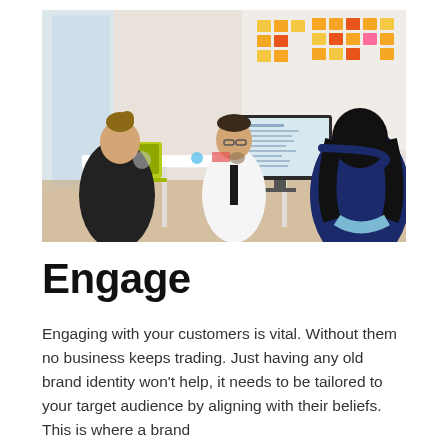[Figure (photo): Office meeting room scene: three people sitting at a white table. A woman with her hair up wearing black on the left with a yellow laptop, a man in a white shirt and black tie in the centre, and a woman with long black hair in dark blue seated with her back to the camera on the right, pointing at a monitor showing a presentation. The wall in the background has colourful sticky notes arranged in groups.]
Engage
Engaging with your customers is vital. Without them no business keeps trading. Just having any old brand identity won't help, it needs to be tailored to your target audience by aligning with their beliefs. This is where a brand